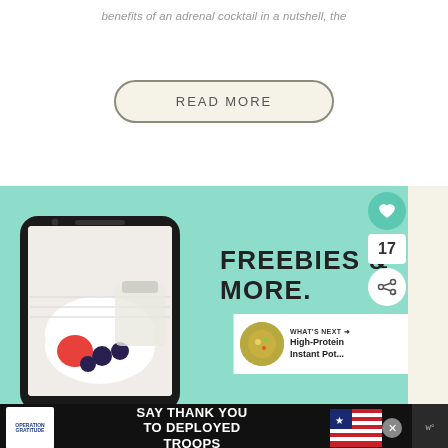benefits of an adrenal cocktail in a nutshell, the
[Figure (screenshot): READ MORE button with rounded pill shape on a cream/beige background]
[Figure (screenshot): Website card with mint green background showing a smartphone mockup with a bowl of berries and a jar. Text reads FREEBIES & MORE. Social interaction buttons (heart with count 17, share) and a WHAT'S NEXT panel showing High-Protein Instant Pot... with a food image. Bottom ad bar for Operation Gratitude: SAY THANK YOU TO DEPLOYED TROOPS.]